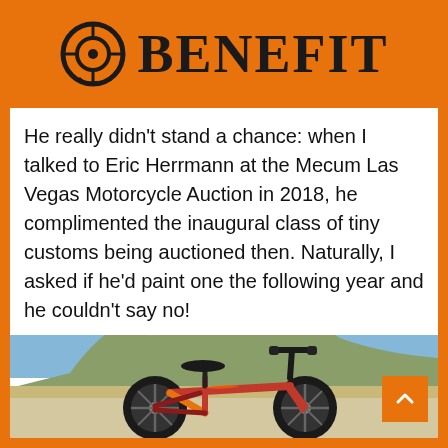PASSION BENEFIT
He really didn't stand a chance: when I talked to Eric Herrmann at the Mecum Las Vegas Motorcycle Auction in 2018, he complimented the inaugural class of tiny customs being auctioned then. Naturally, I asked if he'd paint one the following year and he couldn't say no!
[Figure (photo): An orange and red custom-painted balance bicycle for children, photographed outdoors in front of a large rocky hill with green vegetation under a blue sky.]